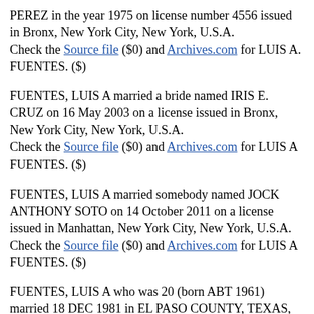PEREZ in the year 1975 on license number 4556 issued in Bronx, New York City, New York, U.S.A.
Check the Source file ($0) and Archives.com for LUIS A. FUENTES. ($)
FUENTES, LUIS A married a bride named IRIS E. CRUZ on 16 May 2003 on a license issued in Bronx, New York City, New York, U.S.A.
Check the Source file ($0) and Archives.com for LUIS A FUENTES. ($)
FUENTES, LUIS A married somebody named JOCK ANTHONY SOTO on 14 October 2011 on a license issued in Manhattan, New York City, New York, U.S.A.
Check the Source file ($0) and Archives.com for LUIS A FUENTES. ($)
FUENTES, LUIS A who was 20 (born ABT 1961) married 18 DEC 1981 in EL PASO COUNTY, TEXAS, U.S.A. a bride named MARIA I SOLIS who was 18 (born ABT 1963).